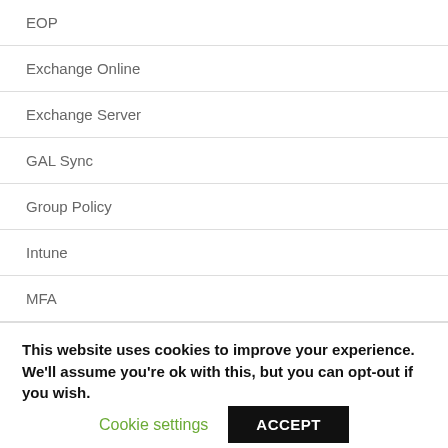EOP
Exchange Online
Exchange Server
GAL Sync
Group Policy
Intune
MFA
Misc
Mobility
O365
Pass-Through Authentication
This website uses cookies to improve your experience. We'll assume you're ok with this, but you can opt-out if you wish.
Cookie settings
ACCEPT